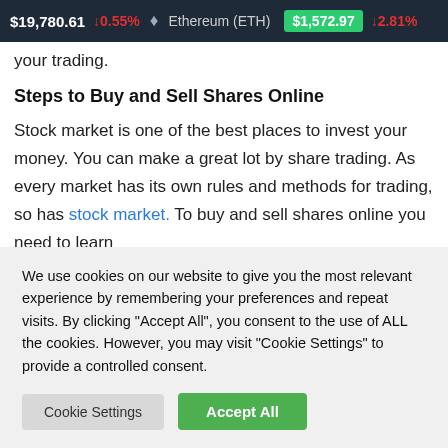$19,780.61 ↓0.55% Ethereum (ETH) $1,572.97 ↓2.81%
your trading.
Steps to Buy and Sell Shares Online
Stock market is one of the best places to invest your money. You can make a great lot by share trading. As every market has its own rules and methods for trading, so has stock market. To buy and sell shares online you need to learn
We use cookies on our website to give you the most relevant experience by remembering your preferences and repeat visits. By clicking "Accept All", you consent to the use of ALL the cookies. However, you may visit "Cookie Settings" to provide a controlled consent.